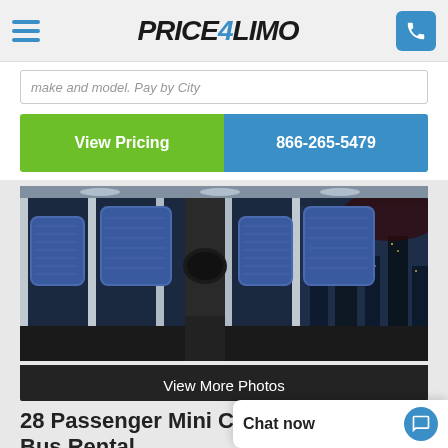Price4Limo
make and model. Pay by City
View Pricing | 866-265-5479
[Figure (photo): Interior of a mini coach bus showing rows of blue patterned passenger seats with city skyline visible through windows at night]
View More Photos
28 Passenger Mini Coach Bus Rental
Chat now